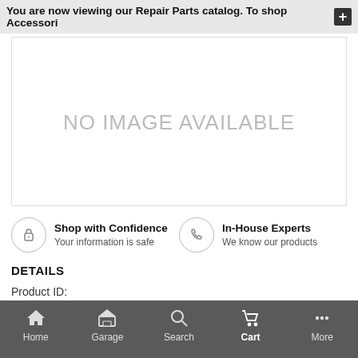You are now viewing our Repair Parts catalog. To shop Accessori
[Figure (other): No image available placeholder box with gray text reading NO IMAGE AVAILABLE]
Shop with Confidence
Your information is safe
In-House Experts
We know our products
DETAILS
Product ID:
SMRE42195
Home  Garage  Search  Cart  More